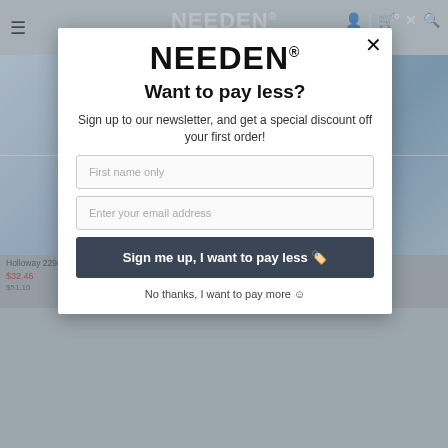[Figure (screenshot): Background of e-commerce website (NEEDEN) showing navigation bar, product listings with blue jackets/pants, partially obscured by a modal popup overlay]
NEEDEN®
Want to pay less?
Sign up to our newsletter, and get a special discount off your first order!
First name only
Enter your email address
Sign me up, I want to pay less 🏷️
No thanks, I want to pay more ☺